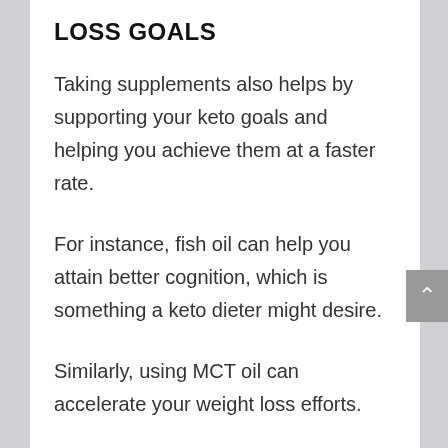LOSS GOALS
Taking supplements also helps by supporting your keto goals and helping you achieve them at a faster rate.
For instance, fish oil can help you attain better cognition, which is something a keto dieter might desire.
Similarly, using MCT oil can accelerate your weight loss efforts.